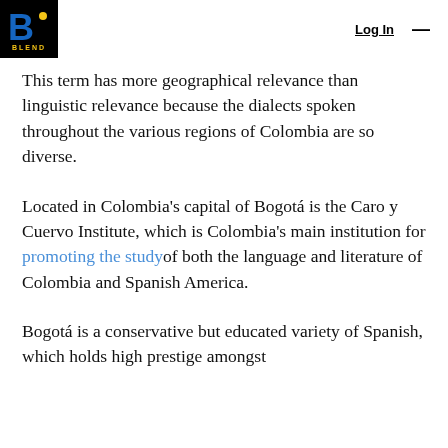[Figure (logo): BLEND logo: blue letter B with yellow dot on black background, with 'BLEND' text below in yellow/gold]
Log In  ☰
This term has more geographical relevance than linguistic relevance because the dialects spoken throughout the various regions of Colombia are so diverse.
Located in Colombia's capital of Bogotá is the Caro y Cuervo Institute, which is Colombia's main institution for promoting the studyof both the language and literature of Colombia and Spanish America.
Bogotá is a conservative but educated variety of Spanish, which holds high prestige amongst